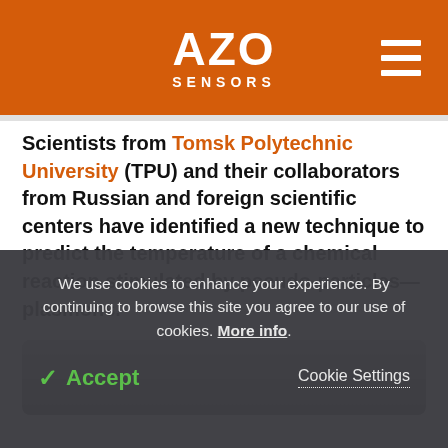AZO SENSORS
Scientists from Tomsk Polytechnic University (TPU) and their collaborators from Russian and foreign scientific centers have identified a new technique to predict the temperature of a chemical reaction stimulated by pseudo-particles—plasmons.
[Figure (photo): Grayscale photograph partially visible behind cookie consent banner]
We use cookies to enhance your experience. By continuing to browse this site you agree to our use of cookies. More info.
✓ Accept   Cookie Settings